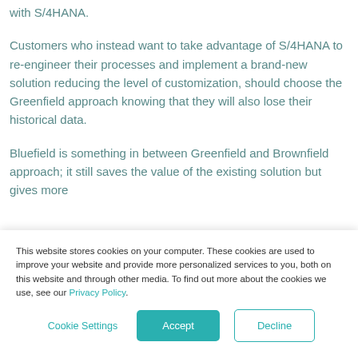with S/4HANA.
Customers who instead want to take advantage of S/4HANA to re-engineer their processes and implement a brand-new solution reducing the level of customization, should choose the Greenfield approach knowing that they will also lose their historical data.
Bluefield is something in between Greenfield and Brownfield approach; it still saves the value of the existing solution but gives more
This website stores cookies on your computer. These cookies are used to improve your website and provide more personalized services to you, both on this website and through other media. To find out more about the cookies we use, see our Privacy Policy.